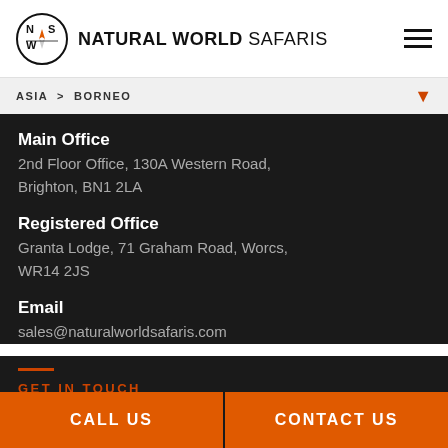NATURAL WORLD SAFARIS
ASIA > BORNEO
Main Office
2nd Floor Office, 130A Western Road, Brighton, BN1 2LA
Registered Office
Granta Lodge, 71 Graham Road, Worcs, WR14 2JS
Email
sales@naturalworldsafaris.com
GET IN TOUCH
CALL US
CONTACT US